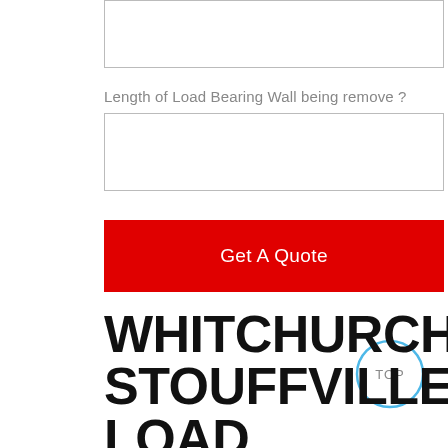[Figure (other): Empty input text box (top, partially visible)]
Length of Load Bearing Wall being remove ?
[Figure (other): Empty input text box for wall length]
Get A Quote
WHITCHURCH STOUFFVILLE LOAD BEARING WALL REMOVAL DESIGN & PERMIT SERVICES
[Figure (other): Circle button labeled TOP]